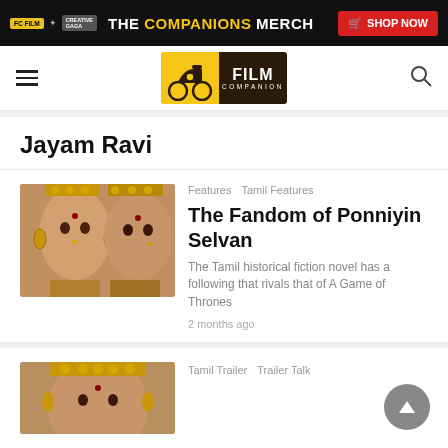THE COMPANIONS MERCH  SHOP NOW
Film Companion
Jayam Ravi
[Figure (photo): Woman in ornate traditional Indian jewelry and golden headpiece, close-up portrait]
Features  Tamil Features
The Fandom of Ponniyin Selvan
The Tamil historical fiction novel has a following that rivals that of A Game of Thrones
2 months ago
[Figure (photo): Woman in traditional Indian bridal jewelry, partial view]
Tamil Trailer  Trailer Talk